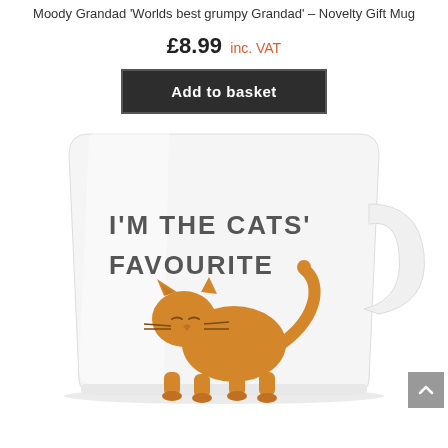Moody Grandad 'Worlds best grumpy Grandad' – Novelty Gift Mug
£8.99 inc. VAT
Add to basket
[Figure (photo): White ceramic mug with text 'I'M THE CATS' FAVOURITE' and an illustration of an orange cat with tail raised, shown on a white background. The mug handle faces right.]